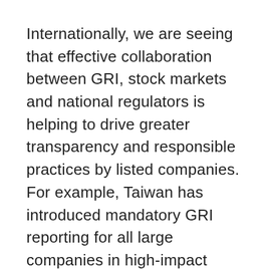Internationally, we are seeing that effective collaboration between GRI, stock markets and national regulators is helping to drive greater transparency and responsible practices by listed companies. For example, Taiwan has introduced mandatory GRI reporting for all large companies in high-impact sectors, covering food processing, chemical and financial services.
As GRI looks to further encourage the spread of sustainability reporting, we have increased our work with stock markets in emerging economies. Two most recent projects saw GRI support the Colombo Stock Exchanges and the Dhaka Stock Exchange to develop ESG reporting guides. As a result, all listed companies